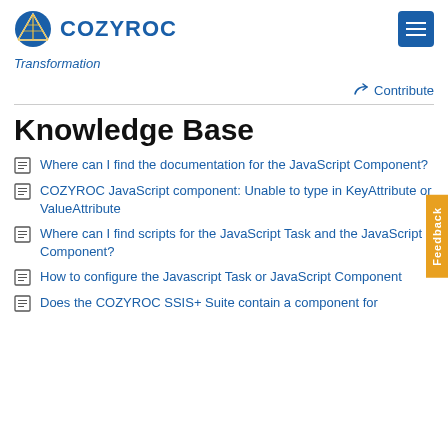COZYROC
Transformation
Contribute
Knowledge Base
Where can I find the documentation for the JavaScript Component?
COZYROC JavaScript component: Unable to type in KeyAttribute or ValueAttribute
Where can I find scripts for the JavaScript Task and the JavaScript Component?
How to configure the Javascript Task or JavaScript Component
Does the COZYROC SSIS+ Suite contain a component for